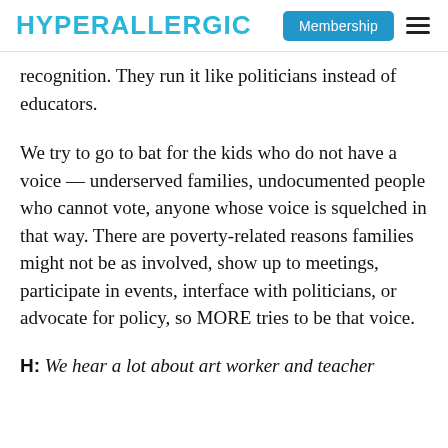HYPERALLERGIC | Membership
recognition. They run it like politicians instead of educators.
We try to go to bat for the kids who do not have a voice — underserved families, undocumented people who cannot vote, anyone whose voice is squelched in that way. There are poverty-related reasons families might not be as involved, show up to meetings, participate in events, interface with politicians, or advocate for policy, so MORE tries to be that voice.
H: We hear a lot about art worker and teacher